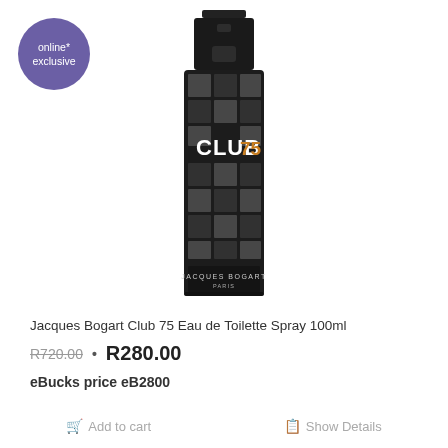[Figure (photo): Jacques Bogart Club 75 Eau de Toilette Spray 100ml fragrance bottle — dark bottle with checkered grid pattern, black cap, 'CLUB 75' text on front, 'JACQUES BOGART PARIS' at bottom]
online* exclusive
Jacques Bogart Club 75 Eau de Toilette Spray 100ml
R720.00 • R280.00
eBucks price eB2800
Add to cart
Show Details